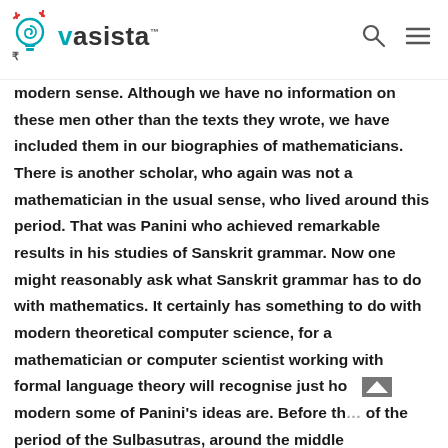Vasista
modern sense. Although we have no information on these men other than the texts they wrote, we have included them in our biographies of mathematicians. There is another scholar, who again was not a mathematician in the usual sense, who lived around this period. That was Panini who achieved remarkable results in his studies of Sanskrit grammar. Now one might reasonably ask what Sanskrit grammar has to do with mathematics. It certainly has something to do with modern theoretical computer science, for a mathematician or computer scientist working with formal language theory will recognise just ho modern some of Panini’s ideas are. Before th… of the period of the Sulbasutras, around the middle